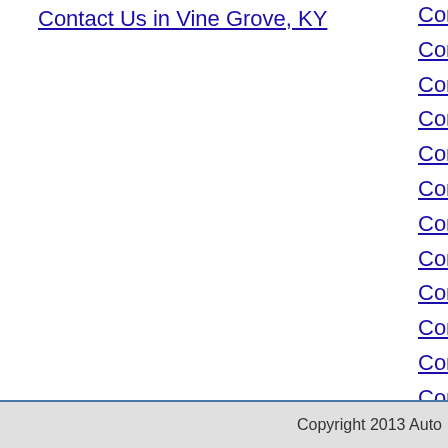Contact Us in Vine Grove, KY
Comp
Comp
Comp
Comp
Comp
Comp
Comp
Comp
Comp
Comp
Comp
Comp
Comp
Comp
Comp
Comp
Comp
Copyright 2013 Auto